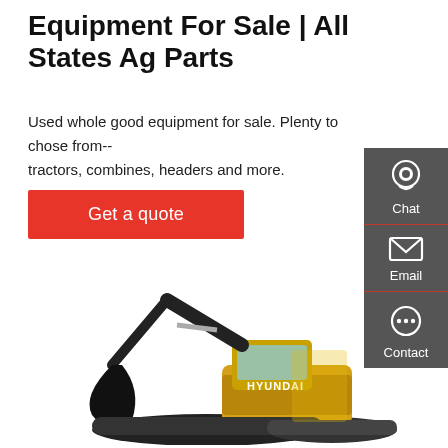Equipment For Sale | All States Ag Parts
Used whole good equipment for sale. Plenty to chose from-- tractors, combines, headers and more.
[Figure (other): Red 'Get a quote' button]
[Figure (other): Sidebar with Chat, Email, and Contact icons on dark grey background]
[Figure (photo): Hyundai excavator/crawler equipment on white background]